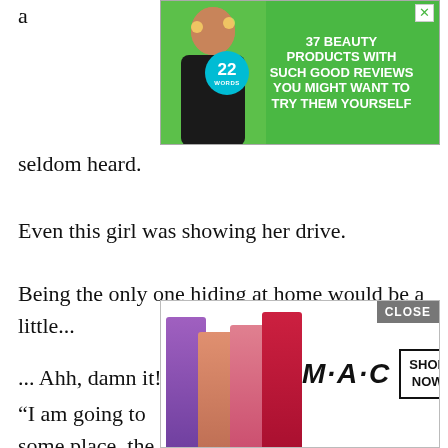a
[Figure (photo): Advertisement banner: green background with woman applying face mask, text '37 BEAUTY PRODUCTS WITH SUCH GOOD REVIEWS YOU MIGHT WANT TO TRY THEM YOURSELF', teal badge '22 WORDS'. Close X button top right.]
A b seldom heard.
Even this girl was showing her drive.
Being the only one hiding at home would be a little...
... Ahh, damn it!
“I am going to some place, the two of you try to bring Darkness back. Even if you e s
[Figure (photo): MAC cosmetics advertisement showing lipsticks in purple, peach, pink, red colors, MAC logo, and SHOP NOW button. CLOSE button top right.]